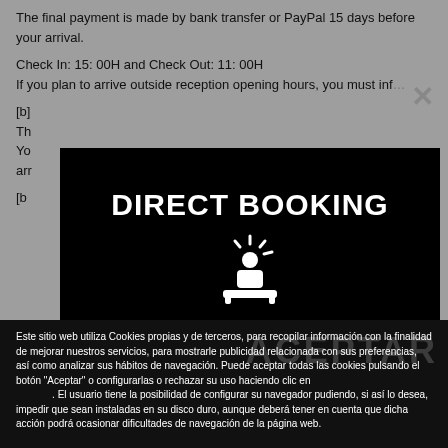The final payment is made by bank transfer or PayPal 15 days before your arrival.
Check In: 15: 00H and Check Out: 11: 00H
If you plan to arrive outside reception opening hours, you must inf...
[b]...
[Figure (screenshot): Black modal overlay with white bold text 'DIRECT BOOKING' and a white icon of a person at a desk]
Este sitio web utiliza Cookies propias y de terceros, para recopilar información con la finalidad de mejorar nuestros servicios, para mostrarle publicidad relacionada con sus preferencias, así como analizar sus hábitos de navegación. Puede aceptar todas las cookies pulsando el botón "Aceptar" o configurarlas o rechazar su uso haciendo clic en . El usuario tiene la posibilidad de configurar su navegador pudiendo, si así lo desea, impedir que sean instaladas en su disco duro, aunque deberá tener en cuenta que dicha acción podrá ocasionar dificultades de navegación de la página web.